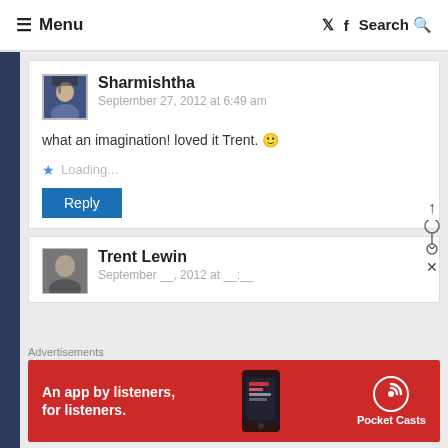≡ Menu  [twitter] [facebook] Search 🔍
Sharmishtha
September 27, 2012 at 6:49 am

what an imagination! loved it Trent. 🙂

★ Loading...

Reply
Trent Lewin
[Figure (infographic): Red advertisement banner for Pocket Casts app: 'An app by listeners, for listeners.' with phone graphic and Pocket Casts logo]
Advertisements